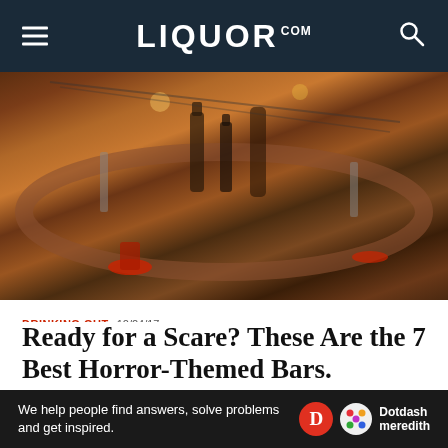LIQUOR.COM
[Figure (photo): Overhead view of a bar with bottles, glassware, red bar stools, and wooden bar counter]
DRINKING OUT  10/24/17
Ready for a Scare? These Are the 7 Best Horror-Themed Bars.
[Figure (photo): Close-up of a cocktail glass with a gold bar spoon or stirrer against a light blue-white background]
We help people find answers, solve problems and get inspired.  Dotdash meredith